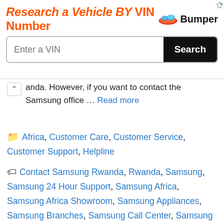[Figure (screenshot): Advertisement banner: 'Research a Vehicle BY VIN Number' with Bumper logo, VIN input field and Search button]
anda. However, if you want to contact the Samsung office … Read more
Africa, Customer Care, Customer Service, Customer Support, Helpline
Contact Samsung Rwanda, Rwanda, Samsung, Samsung 24 Hour Support, Samsung Africa, Samsung Africa Showroom, Samsung Appliances, Samsung Branches, Samsung Call Center, Samsung Client Care, Samsung Customer Care, Samsung Customer Service, Samsung Customer Support, Samsung Head Office, Samsung